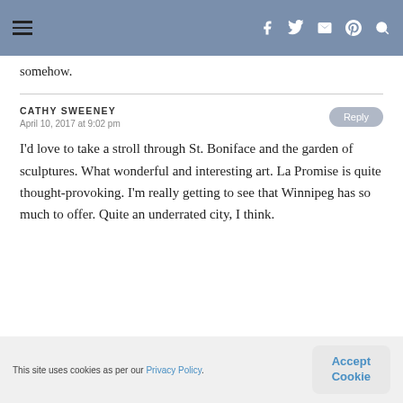≡ | f t ✉ ® 🔍
somehow.
CATHY SWEENEY
April 10, 2017 at 9:02 pm
I'd love to take a stroll through St. Boniface and the garden of sculptures. What wonderful and interesting art. La Promise is quite thought-provoking. I'm really getting to see that Winnipeg has so much to offer. Quite an underrated city, I think.
This site uses cookies as per our Privacy Policy.